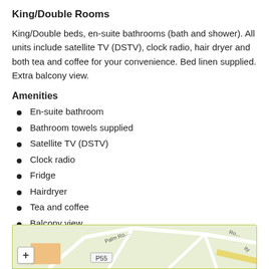King/Double Rooms
King/Double beds, en-suite bathrooms (bath and shower). All units include satellite TV (DSTV), clock radio, hair dryer and both tea and coffee for your convenience. Bed linen supplied. Extra balcony view.
Amenities
En-suite bathroom
Bathroom towels supplied
Satellite TV (DSTV)
Clock radio
Fridge
Hairdryer
Tea and coffee
Balcony view
✔ Book Online With Nightsbridge
[Figure (map): Street map showing local area with P55 label, Palm Road and other roads visible]